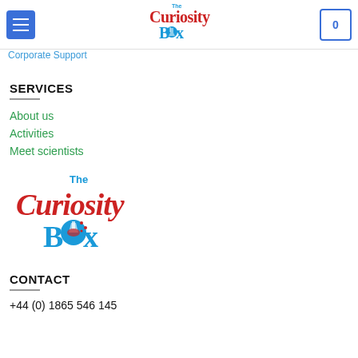The Curiosity Box [logo] with menu button and cart (0)
Corporate Support
SERVICES
About us
Activities
Meet scientists
[Figure (logo): The Curiosity Box logo: red and teal illustrated lettering with science flask graphic]
CONTACT
+44 (0) 1865 546 145